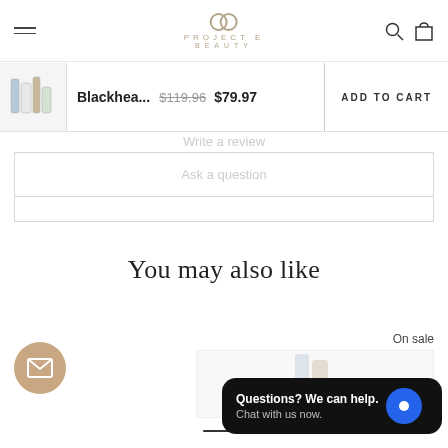PROJECT E BEAUTY
Blackhea... $119.96 $79.97
ADD TO CART
Write a review
Ask a question
1
You may also like
On sale
Questions? We can help. Chat with us now.